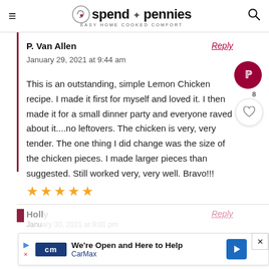spend with pennies — EASY HOME COOKED COMFORT
P. Van Allen
January 29, 2021 at 9:44 am
This is an outstanding, simple Lemon Chicken recipe. I made it first for myself and loved it. I then made it for a small dinner party and everyone raved about it....no leftovers. The chicken is very, very tender. The one thing I did change was the size of the chicken pieces. I made larger pieces than suggested. Still worked very, very well. Bravo!!!
[Figure (other): Five gold star rating]
Holly
[Figure (other): CarMax advertisement banner — We're Open and Here to Help, CarMax logo with blue arrow icon]